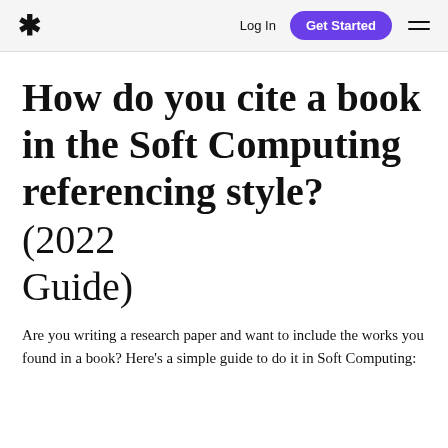* Log In  Get Started  ≡
How do you cite a book in the Soft Computing referencing style? (2022 Guide)
Are you writing a research paper and want to include the works you found in a book? Here's a simple guide to do it in Soft Computing: